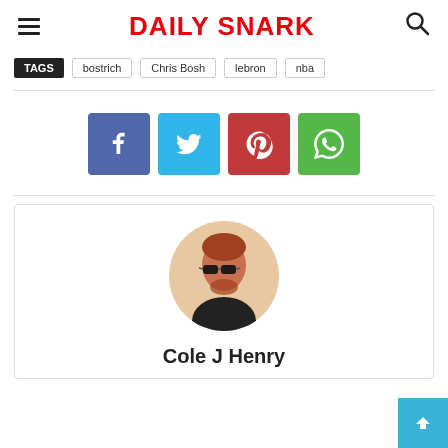Daily Snark
TAGS: bostrich  Chris Bosh  lebron  nba
[Figure (infographic): Social share buttons: Facebook (blue), Twitter (light blue), Pinterest (red), WhatsApp (green)]
[Figure (photo): Author photo of Cole J Henry, a man with sunglasses and beard]
Cole J Henry